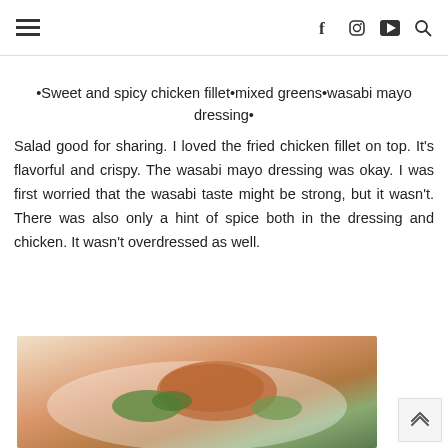☰ [hamburger menu] | f [facebook] [instagram] [youtube] [search]
•Sweet and spicy chicken fillet•mixed greens•wasabi mayo dressing•
Salad good for sharing. I loved the fried chicken fillet on top. It's flavorful and crispy. The wasabi mayo dressing was okay. I was first worried that the wasabi taste might be strong, but it wasn't. There was also only a hint of spice both in the dressing and chicken. It wasn't overdressed as well.
[Figure (photo): A food photo showing a salad dish with fried chicken fillet and green leaves on a white plate, viewed from above]